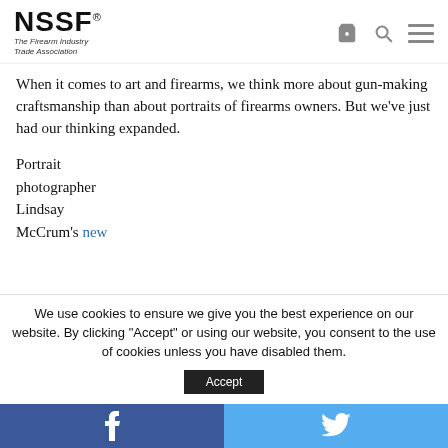NSSF® The Firearm Industry Trade Association
When it comes to art and firearms, we think more about gun-making craftsmanship than about portraits of firearms owners. But we've just had our thinking expanded.
Portrait photographer Lindsay McCrum's new
We use cookies to ensure we give you the best experience on our website. By clicking "Accept" or using our website, you consent to the use of cookies unless you have disabled them.